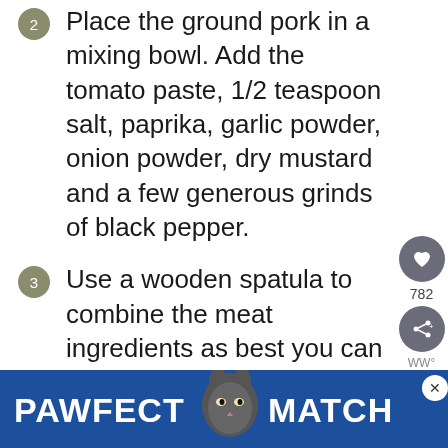2 Place the ground pork in a mixing bowl. Add the tomato paste, 1/2 teaspoon salt, paprika, garlic powder, onion powder, dry mustard and a few generous grinds of black pepper.
3 Use a wooden spatula to combine the meat ingredients as best you can before doing a final, gentle mix with your hands.
4 Divide the meat into four quarter-pound portions and
[Figure (other): PAWFECT MATCH advertisement banner with cat image]